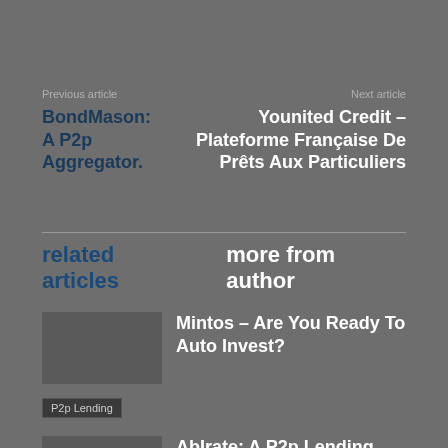Previous article | Next article
BondMason: A P2p Aggregator.
Younited Credit – Plateforme Française De Prêts Aux Particuliers
related articles   more from author
Mintos – Are You Ready To Auto Invest?
P2p Lending
AbIrate: A P2p Lending Platform.
P2p Lending